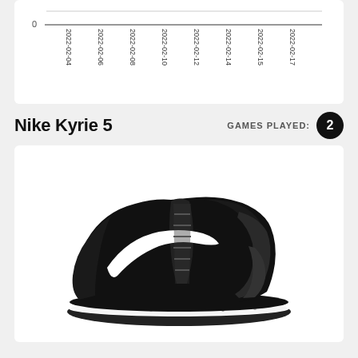[Figure (continuous-plot): Line chart with x-axis dates from 2022-02-04 to 2022-02-17, y-axis starting at 0. The line appears flat near zero.]
Nike Kyrie 5
GAMES PLAYED: 2
[Figure (photo): Black and white Nike Kyrie 5 basketball shoe, side profile view, black upper with white swoosh logo and speckled white sole.]